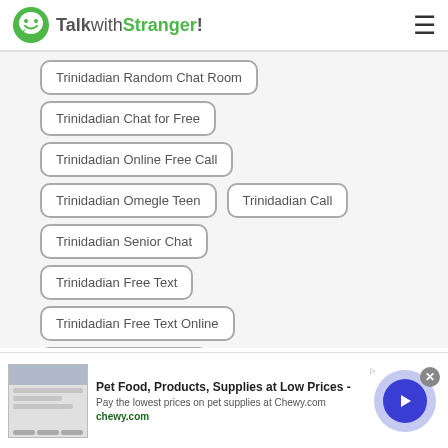TalkwithStranger!
Trinidadian Random Chat Room
Trinidadian Chat for Free
Trinidadian Online Free Call
Trinidadian Omegle Teen
Trinidadian Call
Trinidadian Senior Chat
Trinidadian Free Text
Trinidadian Free Text Online
Trinidadian Phone Chat
[Figure (screenshot): Advertisement banner for Chewy.com: Pet Food, Products, Supplies at Low Prices. Pay the lowest prices on pet supplies at Chewy.com]